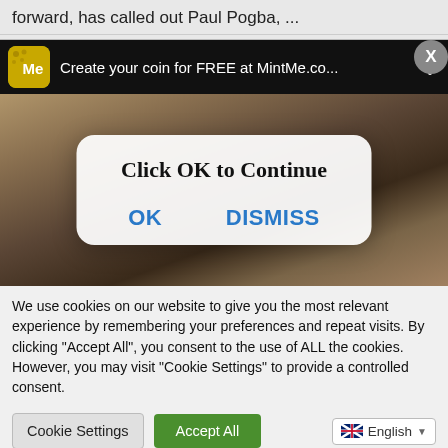forward, has called out Paul Pogba, ...
[Figure (screenshot): MintMe advertisement banner on black background with logo and text 'Create your coin for FREE at MintMe.co...' with close button]
[Figure (screenshot): Background image of dark dramatic scene with a dialog box overlay saying 'Click OK to Continue' with OK and DISMISS buttons]
We use cookies on our website to give you the most relevant experience by remembering your preferences and repeat visits. By clicking "Accept All", you consent to the use of ALL the cookies. However, you may visit "Cookie Settings" to provide a controlled consent.
Cookie Settings   Accept All   English